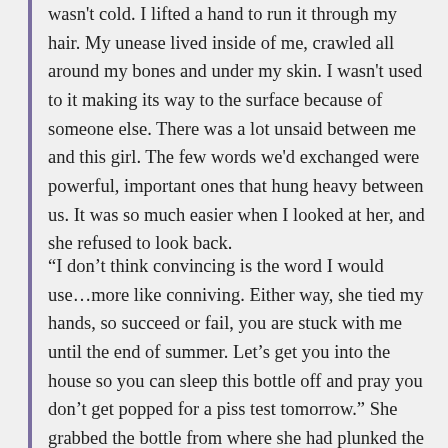wasn't cold. I lifted a hand to run it through my hair. My unease lived inside of me, crawled all around my bones and under my skin. I wasn't used to it making its way to the surface because of someone else. There was a lot unsaid between me and this girl. The few words we'd exchanged were powerful, important ones that hung heavy between us. It was so much easier when I looked at her, and she refused to look back.
“I don’t think convincing is the word I would use…more like conniving. Either way, she tied my hands, so succeed or fail, you are stuck with me until the end of summer. Let’s get you into the house so you can sleep this bottle off and pray you don’t get popped for a piss test tomorrow.” She grabbed the bottle from where she had plunked the base in the sand and lifted a pale eyebrow at me. “You should have picked something…” she trailed off and gave